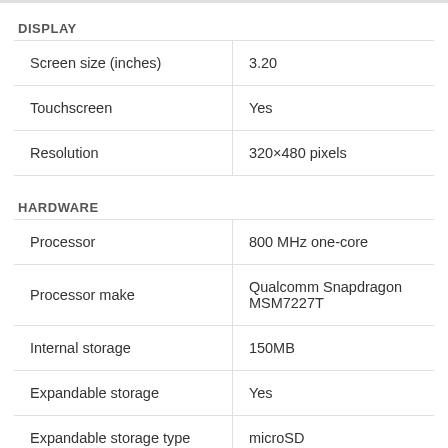DISPLAY
| Screen size (inches) | 3.20 |
| Touchscreen | Yes |
| Resolution | 320×480 pixels |
HARDWARE
| Processor | 800 MHz one-core |
| Processor make | Qualcomm Snapdragon MSM7227T |
| Internal storage | 150MB |
| Expandable storage | Yes |
| Expandable storage type | microSD |